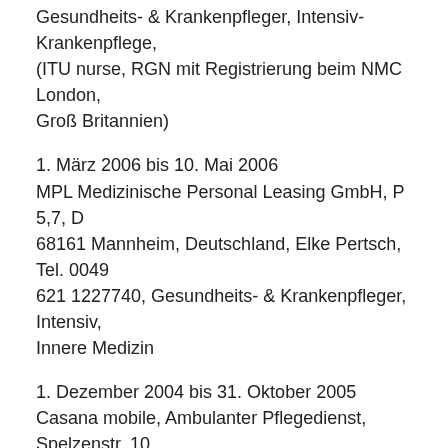Gesundheits- & Krankenpfleger, Intensiv-Krankenpflege, (ITU nurse, RGN mit Registrierung beim NMC London, Groß Britannien)
1. März 2006 bis 10. Mai 2006
MPL Medizinische Personal Leasing GmbH, P 5,7, D 68161 Mannheim, Deutschland, Elke Pertsch, Tel. 0049 621 1227740, Gesundheits- & Krankenpfleger, Intensiv, Innere Medizin
1. Dezember 2004 bis 31. Oktober 2005
Casana mobile, Ambulanter Pflegedienst, Spelzenstr. 10, D 68167 Mannheim, Claudia Berkemer, Deutschland, Tel. 0049 621 33 93 126, Gesundheits- & Krankenpfleger in der ambulanten Pflege
1. Juli 2003 bis 31. Dezember 2003